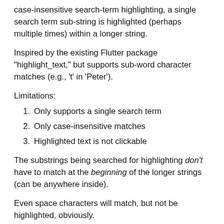case-insensitive search-term highlighting, a single search term sub-string is highlighted (perhaps multiple times) within a longer string.
Inspired by the existing Flutter package "highlight_text," but supports sub-word character matches (e.g., 't' in 'Peter').
Limitations:
Only supports a single search term
Only case-insensitive matches
Highlighted text is not clickable
The substrings being searched for highlighting don't have to match at the beginning of the longer strings (can be anywhere inside).
Even space characters will match, but not be highlighted, obviously.